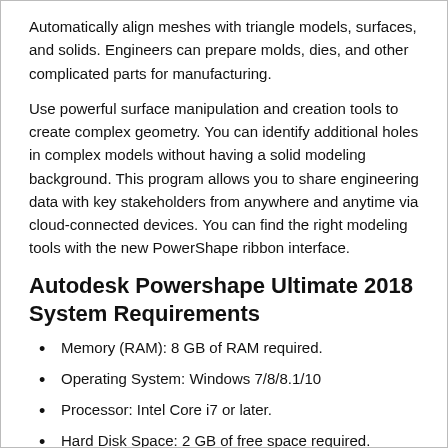Automatically align meshes with triangle models, surfaces, and solids. Engineers can prepare molds, dies, and other complicated parts for manufacturing.
Use powerful surface manipulation and creation tools to create complex geometry. You can identify additional holes in complex models without having a solid modeling background. This program allows you to share engineering data with key stakeholders from anywhere and anytime via cloud-connected devices. You can find the right modeling tools with the new PowerShape ribbon interface.
Autodesk Powershape Ultimate 2018 System Requirements
Memory (RAM): 8 GB of RAM required.
Operating System: Windows 7/8/8.1/10
Processor: Intel Core i7 or later.
Hard Disk Space: 2 GB of free space required.